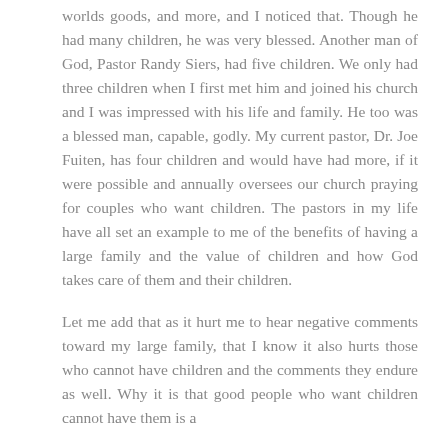worlds goods, and more, and I noticed that. Though he had many children, he was very blessed. Another man of God, Pastor Randy Siers, had five children. We only had three children when I first met him and joined his church and I was impressed with his life and family. He too was a blessed man, capable, godly. My current pastor, Dr. Joe Fuiten, has four children and would have had more, if it were possible and annually oversees our church praying for couples who want children. The pastors in my life have all set an example to me of the benefits of having a large family and the value of children and how God takes care of them and their children.
Let me add that as it hurt me to hear negative comments toward my large family, that I know it also hurts those who cannot have children and the comments they endure as well. Why it is that good people who want children cannot have them is a